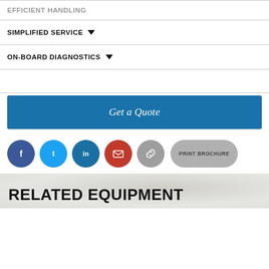EFFICIENT HANDLING
SIMPLIFIED SERVICE
ON-BOARD DIAGNOSTICS
Get a Quote
[Figure (other): Social sharing icons row: Facebook (dark blue circle), Twitter (light blue circle), LinkedIn (dark blue circle), Email (red circle with envelope icon), Link (grey circle with chain icon), and a grey pill-shaped PRINT BROCHURE button]
RELATED EQUIPMENT